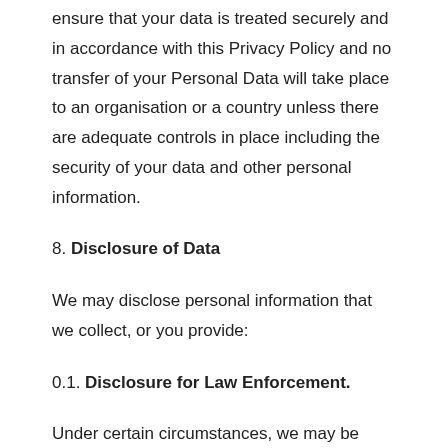ensure that your data is treated securely and in accordance with this Privacy Policy and no transfer of your Personal Data will take place to an organisation or a country unless there are adequate controls in place including the security of your data and other personal information.
8. Disclosure of Data
We may disclose personal information that we collect, or you provide:
0.1. Disclosure for Law Enforcement.
Under certain circumstances, we may be required to disclose your Personal Data if required to do so by law or in response to valid requests by public authorities.
0.2. Business Transaction.